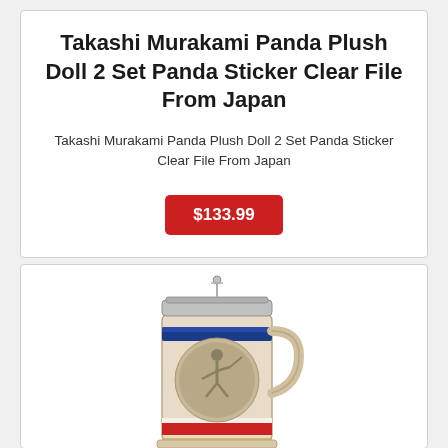Takashi Murakami Panda Plush Doll 2 Set Panda Sticker Clear File From Japan
Takashi Murakami Panda Plush Doll 2 Set Panda Sticker Clear File From Japan
$133.99
[Figure (photo): A ceramic beer stein with a baseball player embossed on the front, red/white/blue stripe bands, a metal lid, and a figural batter handle on the side.]